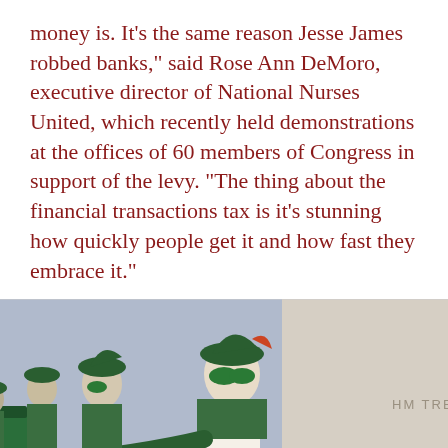money is. It's the same reason Jesse James robbed banks," said Rose Ann DeMoro, executive director of National Nurses United, which recently held demonstrations at the offices of 60 members of Congress in support of the levy. "The thing about the financial transactions tax is it's stunning how quickly people get it and how fast they embrace it."
[Figure (photo): Protesters dressed as Robin Hood in green costumes and masks, standing in line outside HM Treasury building, with a green collection box in the foreground.]
I got the impression that Bill Gates and President Sarkozy envisaged using the money to help development in the